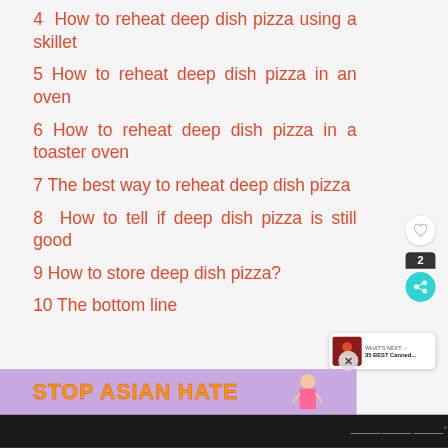4  How to reheat deep dish pizza using a skillet
5 How to reheat deep dish pizza in an oven
6 How to reheat deep dish pizza in a toaster oven
7 The best way to reheat deep dish pizza
8  How to tell if deep dish pizza is still good
9 How to store deep dish pizza?
10 The bottom line
[Figure (screenshot): UI sidebar with heart/like icon, share count badge showing 2, and teal share button]
[Figure (screenshot): What's Next widget showing article preview: 35 BEST Canned...]
[Figure (screenshot): Ad banner: STOP ASIAN HATE with illustrated character, X close button]
[Figure (screenshot): Dark bottom navigation bar with logo dots]